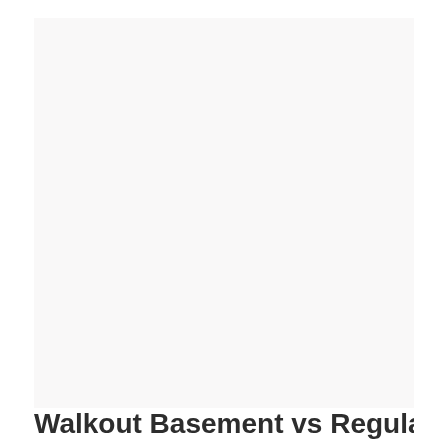[Figure (photo): A large nearly white/light gray rectangular image area taking up most of the page, appearing blank or very lightly textured with faint barely visible text or watermark in the center.]
Walkout Basement vs Regular